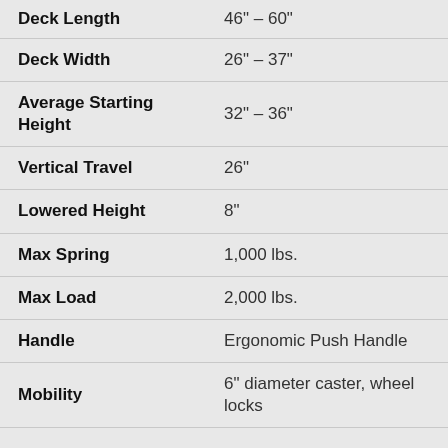| Specification | Value |
| --- | --- |
| Deck Length | 46" – 60" |
| Deck Width | 26" – 37" |
| Average Starting Height | 32" – 36" |
| Vertical Travel | 26" |
| Lowered Height | 8" |
| Max Spring | 1,000 lbs. |
| Max Load | 2,000 lbs. |
| Handle | Ergonomic Push Handle |
| Mobility | 6" diameter caster, wheel locks |